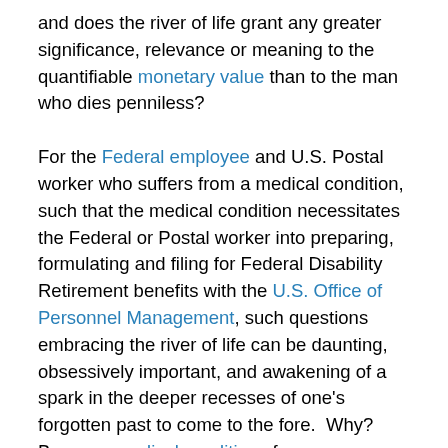and does the river of life grant any greater significance, relevance or meaning to the quantifiable monetary value than to the man who dies penniless?

For the Federal employee and U.S. Postal worker who suffers from a medical condition, such that the medical condition necessitates the Federal or Postal worker into preparing, formulating and filing for Federal Disability Retirement benefits with the U.S. Office of Personnel Management, such questions embracing the river of life can be daunting, obsessively important, and awakening of a spark in the deeper recesses of one's forgotten past to come to the fore.  Why?  Because medical conditions force a prioritization of values, meaning and relevance in one life; and, indeed, that is the foundational essence of every river of life – of what we believe; that we believe; and for which we believe.